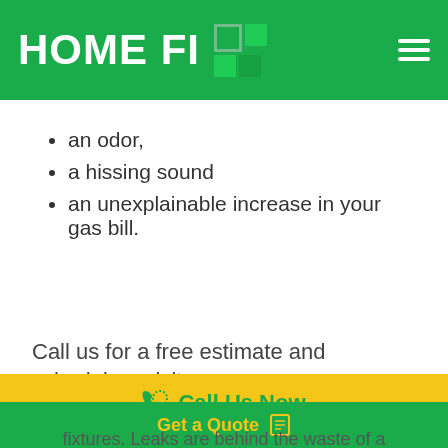HOME FI
an odor,
a hissing sound
an unexplainable increase in your gas bill.
Call us for a free estimate and schedule a visit.
Call Us Now
Get a Quote
fixtures. Leaks are behind the waste of a